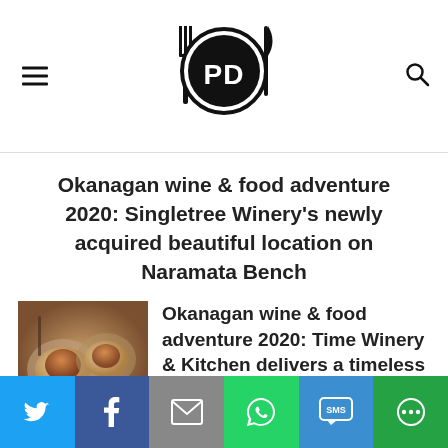[Figure (logo): PD food/restaurant logo with fork, knife and circle containing letters PD]
Okanagan wine & food adventure 2020: Singletree Winery's newly acquired beautiful location on Naramata Bench
[Figure (photo): Food photo showing plated dishes on a wooden surface]
Okanagan wine & food adventure 2020: Time Winery & Kitchen delivers a timeless tasting experience in South Okanagan
[Figure (infographic): Social sharing bar with Twitter, Facebook, Email, WhatsApp, SMS, and More buttons]